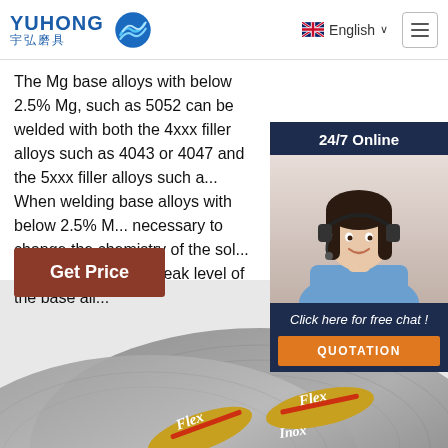[Figure (logo): Yuhong 宇弘磨具 logo with blue wave icon]
English ∨
The Mg base alloys with below 2.5% Mg, such as 5052 can be welded with both the 4xxx filler alloys such as 4043 or 4047 and the 5xxx filler alloys such a... When welding base alloys with below 2.5% M... necessary to change the chemistry of the sol... from the high crack peak level of the base all...
Get Price
[Figure (photo): Customer service representative with headset — 24/7 Online chat widget with QUOTATION button]
[Figure (photo): Flex and Inox cutting discs product photo at bottom of page]
[Figure (illustration): TOP badge with triangle dots and orange text in bottom right corner]